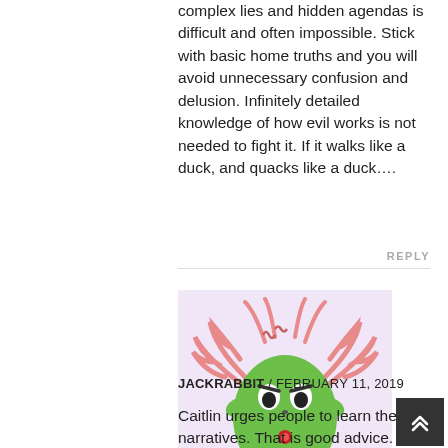complex lies and hidden agendas is difficult and often impossible. Stick with basic home truths and you will avoid unnecessary confusion and delusion. Infinitely detailed knowledge of how evil works is not needed to fight it. If it walks like a duck, and quacks like a duck….
REPLY
[Figure (illustration): Cartoon illustration of an angry green blob-like creature with horns and tentacle-like arms on a light purple background]
JACKRABBIT / FEBRUARY 11, 2019
Caitlin urges people to learn the narratives. That is good advice. Until they've learnt the narratives, people have a difficult time